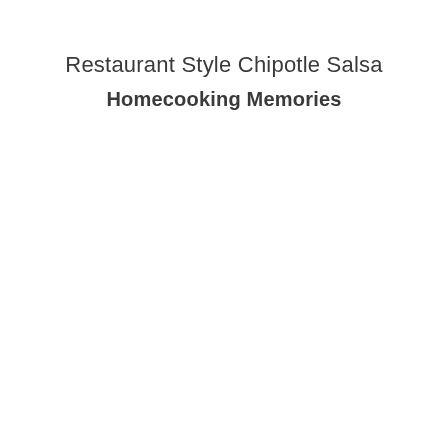Restaurant Style Chipotle Salsa
Homecooking Memories